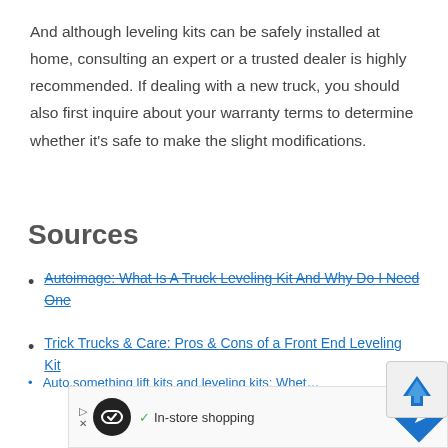And although leveling kits can be safely installed at home, consulting an expert or a trusted dealer is highly recommended. If dealing with a new truck, you should also first inquire about your warranty terms to determine whether it's safe to make the slight modifications.
Sources
Autoimage: What Is A Truck Leveling Kit And Why Do I Need One
Trick Trucks & Care: Pros & Cons of a Front End Leveling Kit
(partial, cut off)
[Figure (screenshot): Ad banner at bottom of page with logo, in-store shopping text, and navigation arrow icon. Also a reCAPTCHA badge in bottom right.]